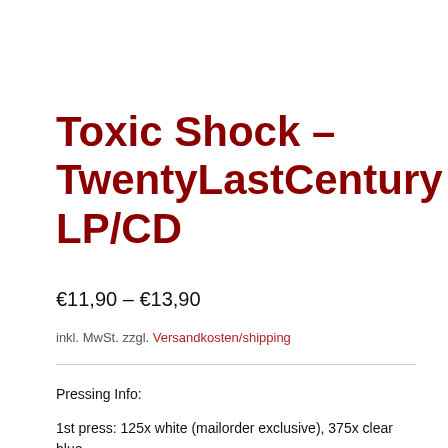Toxic Shock – TwentyLastCentury LP/CD
€11,90 – €13,90
inkl. MwSt. zzgl. Versandkosten/shipping
Pressing Info:
1st press: 125x white (mailorder exclusive), 375x clear blue w/ white splatter (LAST COPIES)